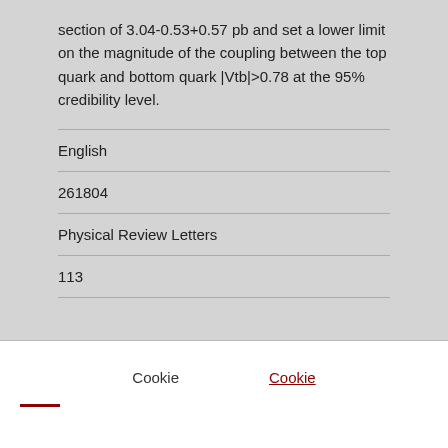section of 3.04-0.53+0.57 pb and set a lower limit on the magnitude of the coupling between the top quark and bottom quark |Vtb|>0.78 at the 95% credibility level.
English
261804
Physical Review Letters
113
Cookie
Cookie